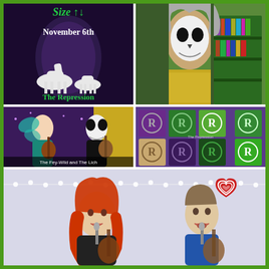[Figure (photo): Event poster with white ceramic horse figurines, text 'November 6th' and 'The Repression' on dark fantasy background]
[Figure (photo): Person wearing skull/ghost face paint with gray curly hair in front of green bookshelf in gold costume]
[Figure (photo): Two performers in fairy and skull costumes playing guitars, text 'The Fey-Wild and The Lich']
[Figure (photo): Collection of t-shirts with circled R logo in various colors (purple, green, brown, dark)]
[Figure (photo): Two musicians performing with guitars, woman with red hair, man singing, with heart graphics and RAid logo overlaid]